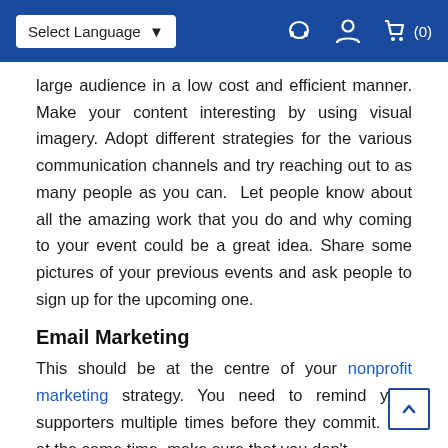Select Language ▼  [headset icon] [user icon] [cart icon] (0)
large audience in a low cost and efficient manner. Make your content interesting by using visual imagery. Adopt different strategies for the various communication channels and try reaching out to as many people as you can. Let people know about all the amazing work that you do and why coming to your event could be a great idea. Share some pictures of your previous events and ask people to sign up for the upcoming one.
Email Marketing
This should be at the centre of your nonprofit marketing strategy. You need to remind your supporters multiple times before they commit. But at the same time, make sure that you don't